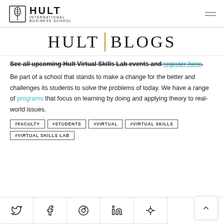HULT INTERNATIONAL BUSINESS SCHOOL
HULT | BLOGS
See all upcoming Hult Virtual Skills Lab events and register here.
Be part of a school that stands to make a change for the better and challenges its students to solve the problems of today. We have a range of programs that focus on learning by doing and applying theory to real-world issues.
#FACULTY
#STUDENTS
#VIRTUAL
#VIRTUAL SKILLS
#VIRTUAL SKILLS LAB
[Figure (other): Social sharing icons: Twitter, Facebook, Pinterest, LinkedIn, Email]